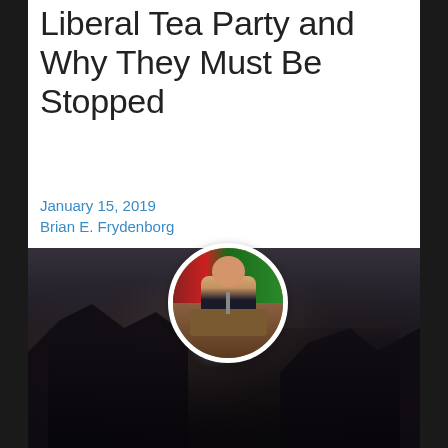Liberal Tea Party and Why They Must Be Stopped
January 15, 2019
Brian E. Frydenborg
[Figure (photo): A circular profile photo of a bearded man in a suit speaking at a podium with a microphone, overlaid on a dark crowd photo of cheering people at what appears to be a political rally.]